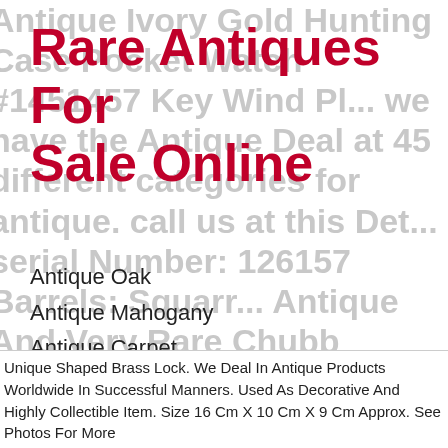Rare Antiques For Sale Online
Antique Oak
Antique Mahogany
Antique Carpet
Antique Painting
Antique Glass
Antique Plate
Unique Shaped Brass Lock. We Deal In Antique Products Worldwide In Successful Manners. Used As Decorative And Highly Collectible Item. Size 16 Cm X 10 Cm X 9 Cm Approx. See Photos For More